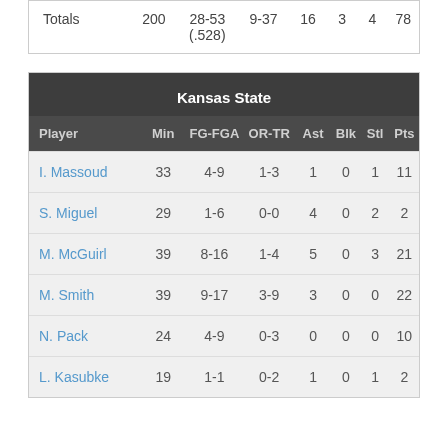|  | Min | FG-FGA | OR-TR | Ast | Blk | Stl | Pts |
| --- | --- | --- | --- | --- | --- | --- | --- |
| Totals | 200 | 28-53 (.528) | 9-37 | 16 | 3 | 4 | 78 |
| Player | Min | FG-FGA | OR-TR | Ast | Blk | Stl | Pts |
| --- | --- | --- | --- | --- | --- | --- | --- |
| I. Massoud | 33 | 4-9 | 1-3 | 1 | 0 | 1 | 11 |
| S. Miguel | 29 | 1-6 | 0-0 | 4 | 0 | 2 | 2 |
| M. McGuirl | 39 | 8-16 | 1-4 | 5 | 0 | 3 | 21 |
| M. Smith | 39 | 9-17 | 3-9 | 3 | 0 | 0 | 22 |
| N. Pack | 24 | 4-9 | 0-3 | 0 | 0 | 0 | 10 |
| L. Kasubke | 19 | 1-1 | 0-2 | 1 | 0 | 1 | 2 |